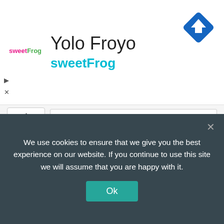[Figure (screenshot): Ad banner for Yolo Froyo / sweetFrog with logo, title text, teal subtitle, and a blue navigation/map arrow icon in top right corner]
Disclaimer: This is NOT the official scholarship page. This is only a one-page summarized listing of the scholarship. While we endeavor to keep the information up to date and correct, information may change at any time without notice. For complete and updated information, please always refer to the
We use cookies to ensure that we give you the best experience on our website. If you continue to use this site we will assume that you are happy with it.